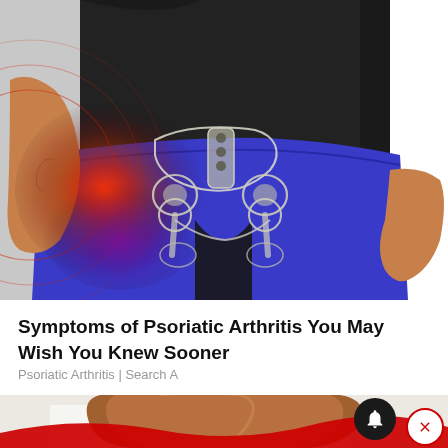[Figure (photo): Medical illustration showing a person from waist down wearing blue leggings and a black shirt, gripping their hip area. A red pain glow and skeletal hip anatomy overlay are shown on the left hip. Concentric red rings radiate from the pain point on the left side.]
Symptoms of Psoriatic Arthritis You May Wish You Knew Sooner
Psoriatic Arthritis | Search A
[Figure (photo): Partial view of the top of a person's head with brown hair, wearing a white top. A red decorative wave overlays the bottom of the image. A black notification bell button and a red-bordered close (X) button are visible in the lower right.]